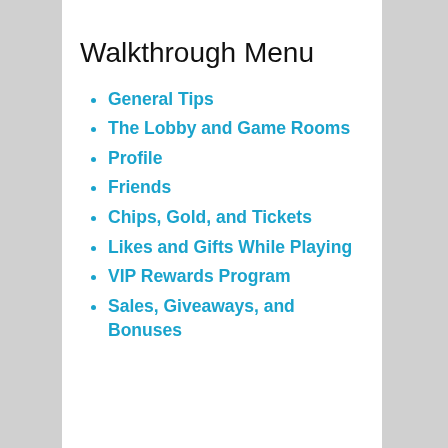Walkthrough Menu
General Tips
The Lobby and Game Rooms
Profile
Friends
Chips, Gold, and Tickets
Likes and Gifts While Playing
VIP Rewards Program
Sales, Giveaways, and Bonuses